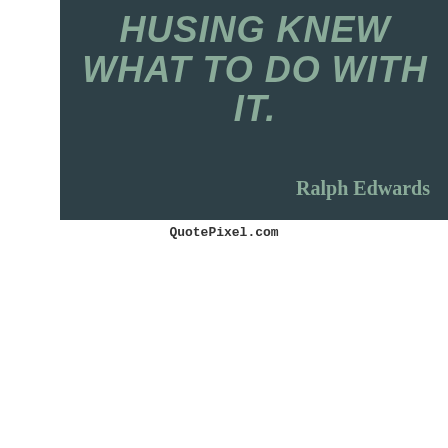[Figure (illustration): Dark teal/slate background quote card with large bold italic uppercase text reading 'HUSING KNEW WHAT TO DO WITH IT.' in sage green color, and author attribution 'Ralph Edwards' in the bottom right in serif font]
QuotePixel.com
[Figure (illustration): Black background quote card with social sharing buttons (Pinterest, Facebook, helpful, non helpful) at top, a portrait illustration of Harold Brodkey on the left side, and quote text: 'Public radio is alive and kicking, it always has been. (Harold Brodkey)' on the right. Footer reads izquotes.com]